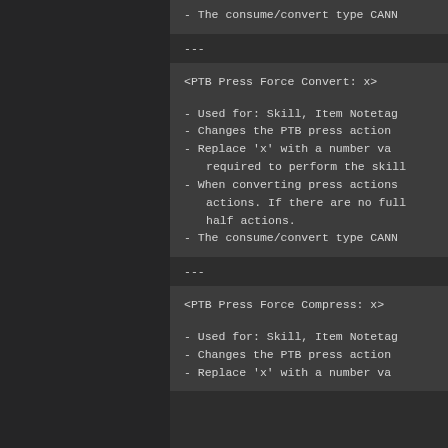- The consume/convert type CANN
---
<PTB Press Force Convert: x>
- Used for: Skill, Item Notetag
- Changes the PTB press action
- Replace 'x' with a number value required to perform the skill
- When converting press actions, actions. If there are no full half actions.
- The consume/convert type CANN
---
<PTB Press Force Compress: x>
- Used for: Skill, Item Notetag
- Changes the PTB press action
- Replace 'x' with a number va